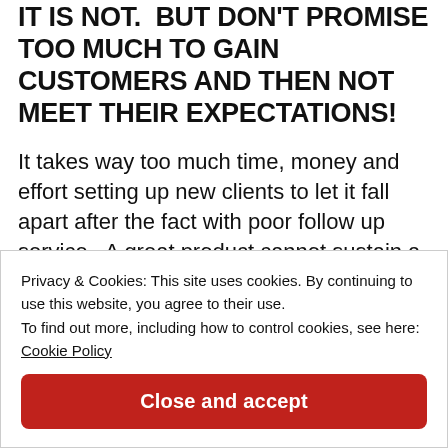it is not.  But DON'T PROMISE TOO MUCH TO GAIN CUSTOMERS AND THEN NOT MEET THEIR EXPECTATIONS!
It takes way too much time, money and effort setting up new clients to let it fall apart after the fact with poor follow up service.  A great product cannot sustain a relationship.  If you've built a relationship and don't foster it once you have the customer, it will be a short term relationship.
Privacy & Cookies: This site uses cookies. By continuing to use this website, you agree to their use.
To find out more, including how to control cookies, see here: Cookie Policy
Close and accept